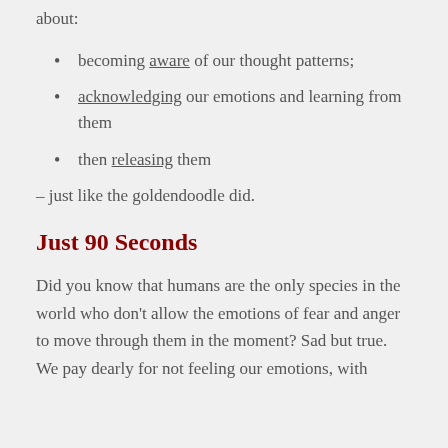about:
becoming aware of our thought patterns;
acknowledging our emotions and learning from them
then releasing them
– just like the goldendoodle did.
Just 90 Seconds
Did you know that humans are the only species in the world who don't allow the emotions of fear and anger to move through them in the moment? Sad but true. We pay dearly for not feeling our emotions, with